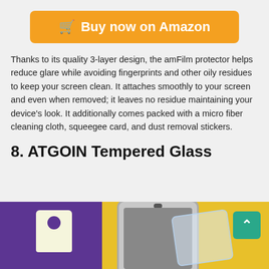[Figure (other): Orange 'Buy now on Amazon' button with shopping cart icon]
Thanks to its quality 3-layer design, the amFilm protector helps reduce glare while avoiding fingerprints and other oily residues to keep your screen clean. It attaches smoothly to your screen and even when removed; it leaves no residue maintaining your device's look. It additionally comes packed with a micro fiber cleaning cloth, squeegee card, and dust removal stickers.
8. ATGOIN Tempered Glass
[Figure (photo): Product photo showing phone screen protector packaging (purple and yellow box) with a phone and glass protector]